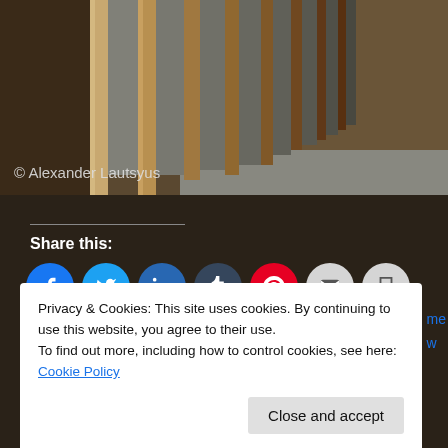[Figure (photo): Interior construction photo showing wooden wall studs with insulation between them, concrete floor visible, dimly lit space. Copyright watermark reads '© Alexander Lautsyus']
Share this:
[Figure (infographic): Row of social media share buttons: Facebook (blue), Twitter (cyan), LinkedIn (blue), Tumblr (dark blue), Pinterest (red), Email (light grey), Print (light grey)]
Privacy & Cookies: This site uses cookies. By continuing to use this website, you agree to their use.
To find out more, including how to control cookies, see here: Cookie Policy
Close and accept